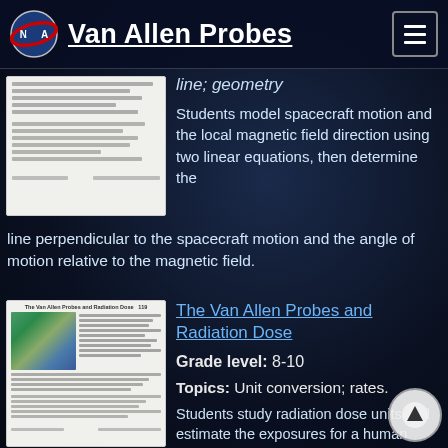Van Allen Probes
line; geometry
Students model spacecraft motion and the local magnetic field direction using two linear equations, then determine the line perpendicular to the spacecraft motion and the angle of motion relative to the magnetic field.
The Van Allen Probes and Radiation Dose
Grade level: 8-10
Topics: Unit conversion; rates.
Students study radiation dose units and estimate the exposures for a human living on the ground, an astronaut on the ISS, and the Van Allen belt environment.